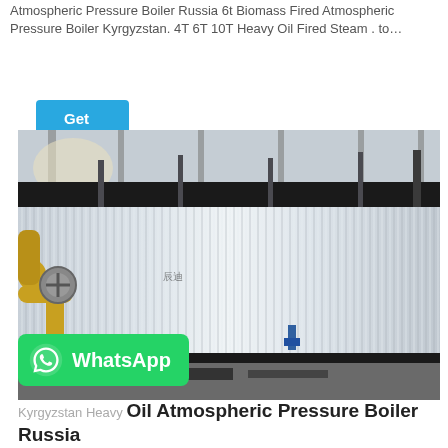Atmospheric Pressure Boiler Russia 6t Biomass Fired Atmospheric Pressure Boiler Kyrgyzstan. 4T 6T 10T Heavy Oil Fired Steam . to…
Get Price
[Figure (photo): Industrial atmospheric pressure boiler with corrugated metal cladding installed in a factory building. Yellow pipes visible on the left side.]
WhatsApp
Kyrgyzstan Heavy Oil Atmospheric Pressure Boiler Russia